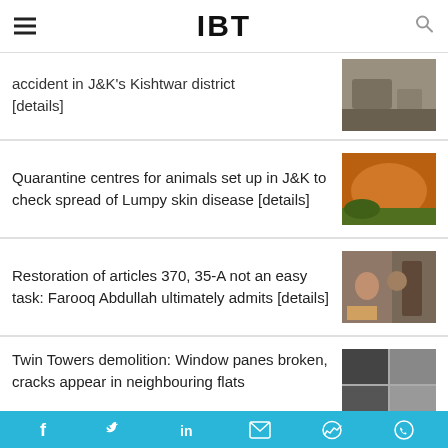IBT
accident in J&K's Kishtwar district [details]
Quarantine centres for animals set up in J&K to check spread of Lumpy skin disease [details]
[Figure (photo): Photo of cow with lumpy skin disease]
Restoration of articles 370, 35-A not an easy task: Farooq Abdullah ultimately admits [details]
[Figure (photo): Photo of people at a gathering with flowers]
Twin Towers demolition: Window panes broken, cracks appear in neighbouring flats
[Figure (photo): Grid of 4 photos showing window damage from Twin Towers demolition]
Social share bar: Facebook, Twitter, LinkedIn, Email, Messenger, WhatsApp